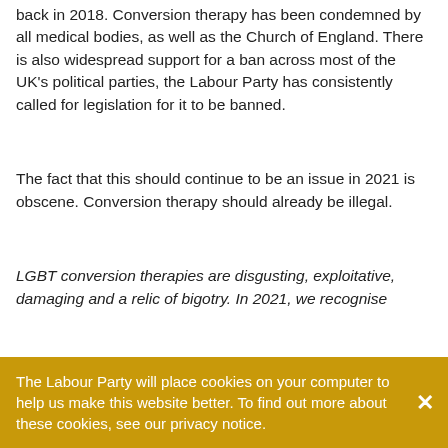back in 2018. Conversion therapy has been condemned by all medical bodies, as well as the Church of England. There is also widespread support for a ban across most of the UK's political parties, the Labour Party has consistently called for legislation for it to be banned.
The fact that this should continue to be an issue in 2021 is obscene. Conversion therapy should already be illegal.
LGBT conversion therapies are disgusting, exploitative, damaging and a relic of bigotry. In 2021, we recognise
The Labour Party will place cookies on your computer to help us make this website better. To find out more about these cookies, see our privacy notice.